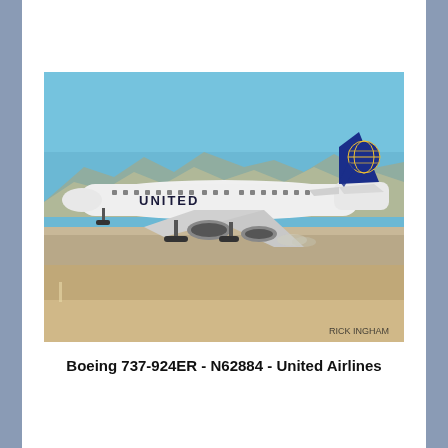[Figure (photo): A United Airlines Boeing 737-924ER (registration N62884) landing or taxiing on a runway at an airport, photographed from the side. The aircraft is white with 'UNITED' lettering on the fuselage and a blue tail with the Continental globe logo. Mountains are visible in the background under a clear blue sky. Photo credit: RICK INGHAM.]
Boeing 737-924ER - N62884 - United Airlines